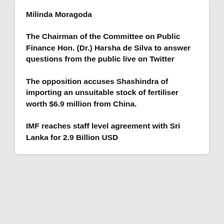Milinda Moragoda
The Chairman of the Committee on Public Finance Hon. (Dr.) Harsha de Silva to answer questions from the public live on Twitter
The opposition accuses Shashindra of importing an unsuitable stock of fertiliser worth $6.9 million from China.
IMF reaches staff level agreement with Sri Lanka for 2.9 Billion USD